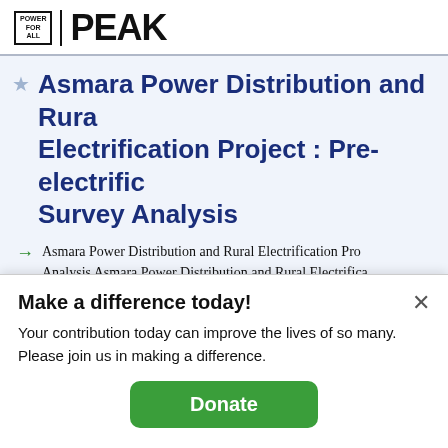POWER FOR ALL | PEAK
Asmara Power Distribution and Rural Electrification Project : Pre-electrification Survey Analysis
Asmara Power Distribution and Rural Electrification Project : Pre-electrification Survey Analysis Asmara Power Distribution and Rural Electrification : Pre-electrification Survey Analysis, April 28, 2006 page 1 of 24
Annotate   View Annotations   View Images   Document
Make a difference today!
Your contribution today can improve the lives of so many. Please join us in making a difference.
Donate